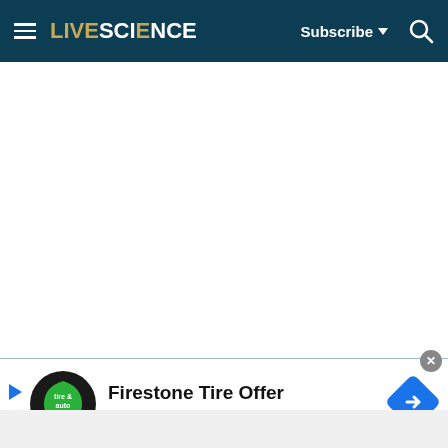LIVESCIENCE — Subscribe — Search
[Figure (screenshot): White blank content area below navigation bar]
[Figure (infographic): Advertisement banner: Firestone Tire Offer — Virginia Tire & Auto of Ashburn, with Firestone logo and blue diamond navigation icon]